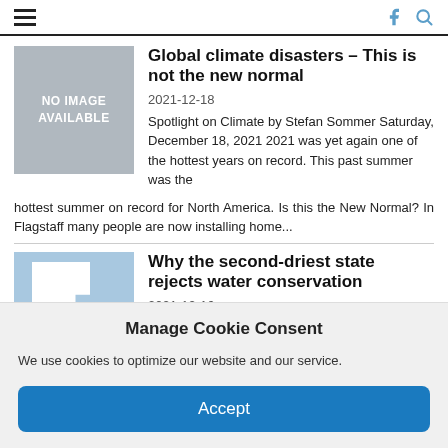Navigation bar with hamburger menu, Facebook and search icons
Global climate disasters – This is not the new normal
2021-12-18
Spotlight on Climate by Stefan Sommer Saturday, December 18, 2021 2021 was yet again one of the hottest years on record. This past summer was the hottest summer on record for North America. Is this the New Normal? In Flagstaff many people are now installing home...
Why the second-driest state rejects water conservation
2021-12-16
Utah has some of the highest per-capita water use and is the fastest growing state. Yet a powerful...
Manage Cookie Consent
We use cookies to optimize our website and our service.
Accept